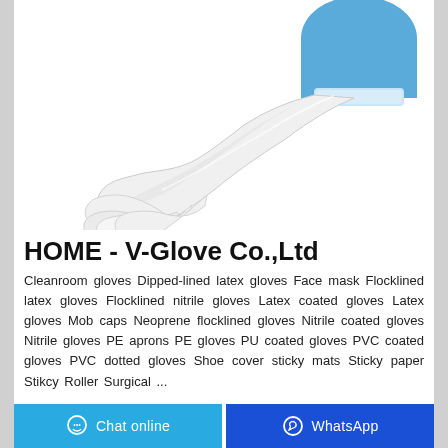[Figure (photo): A white/light gray disposable glove worn on an arm with a blue protective sleeve, extended outward against a white background]
HOME - V-Glove Co.,Ltd
Cleanroom gloves Dipped-lined latex gloves Face mask Flocklined latex gloves Flocklined nitrile gloves Latex coated gloves Latex gloves Mob caps Neoprene flocklined gloves Nitrile coated gloves Nitrile gloves PE aprons PE gloves PU coated gloves PVC coated gloves PVC dotted gloves Shoe cover sticky mats Sticky paper Stikcy Roller Surgical ...
Chat online   WhatsApp